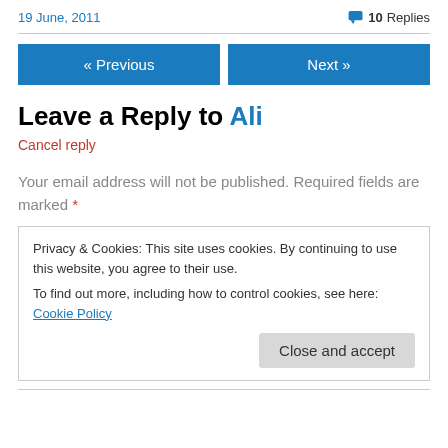19 June, 2011    💬 10 Replies
Leave a Reply to Ali
Cancel reply
Your email address will not be published. Required fields are marked *
Privacy & Cookies: This site uses cookies. By continuing to use this website, you agree to their use.
To find out more, including how to control cookies, see here: Cookie Policy
Close and accept